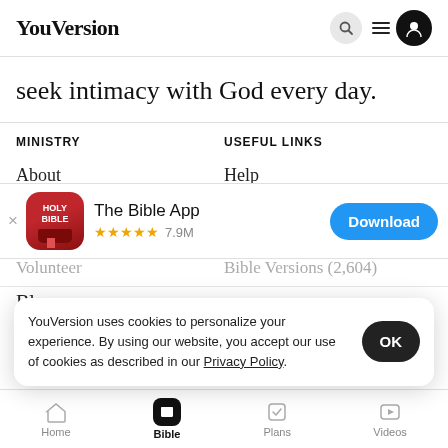YouVersion
seek intimacy with God every day.
MINISTRY
USEFUL LINKS
About
Help
[Figure (screenshot): The Bible App download banner with HOLY BIBLE icon, star rating 7.9M, and Download button]
Volunteer
Bible Versions (2,604)
Blog
YouVersion uses cookies to personalize your experience. By using our website, you accept our use of cookies as described in our Privacy Policy.
Press
Verse of the Day
Home  Bible  Plans  Videos